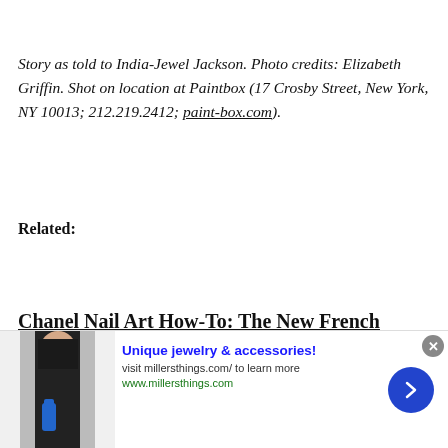Story as told to India-Jewel Jackson. Photo credits: Elizabeth Griffin. Shot on location at Paintbox (17 Crosby Street, New York, NY 10013; 212.219.2412; paint-box.com).
Related:
Chanel Nail Art How-To: The New French Manicure
[Figure (other): Advertisement banner: image of person holding a blue bottle (dark clothing), with text 'Unique jewelry & accessories! visit millersthings.com/ to learn more www.millersthings.com' and a blue arrow button on the right, close button top right.]